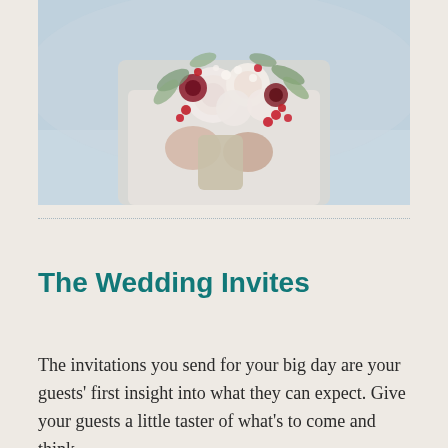[Figure (photo): Close-up photograph of a bride holding a floral bouquet featuring white/blush roses, red berries, and eucalyptus greenery. The bride is wearing a white lace dress and the background is a blurred light blue/grey outdoor scene.]
The Wedding Invites
The invitations you send for your big day are your guests' first insight into what they can expect. Give your guests a little taster of what's to come and think